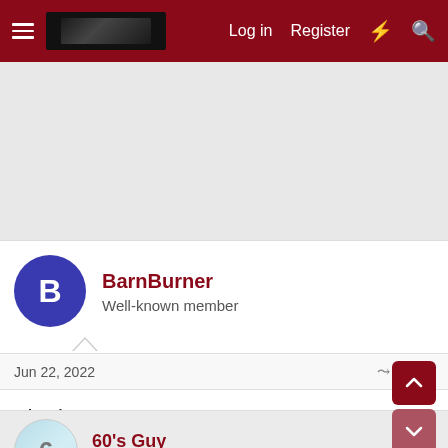Log in  Register
[Figure (screenshot): Gray advertisement area placeholder]
BarnBurner
Well-known member
Jun 22, 2022  #2
The beat goes on.
60's Guy
Well-known member